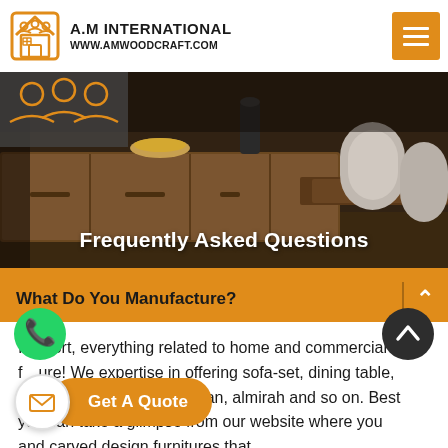A.M INTERNATIONAL www.amwoodcraft.com
[Figure (photo): Hero background photo showing wooden dining furniture — a dark walnut sideboard/credenza and dining table with grey upholstered chairs, in a dimly lit room]
Frequently Asked Questions
What Do You Manufacture?
In short, everything related to home and commercial furniture! We expertise in offering sofa-set, dining table, wooden chair, wooden diwan, almirah and so on. Best you can take a glimpse from our website where you and carved design furnitures that
[Figure (logo): WhatsApp button (green circle with phone icon)]
[Figure (other): Scroll to top button (dark circle with up chevron)]
[Figure (other): Get A Quote button with mail icon]